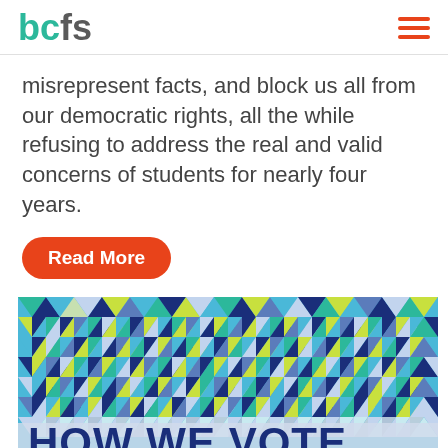bcfs
misrepresent facts, and block us all from our democratic rights, all the while refusing to address the real and valid concerns of students for nearly four years.
Read More
[Figure (illustration): Colorful geometric triangle pattern background banner with text 'HOW WE VOTE' overlaid in large dark blue bold letters on a semi-transparent white bar at the bottom.]